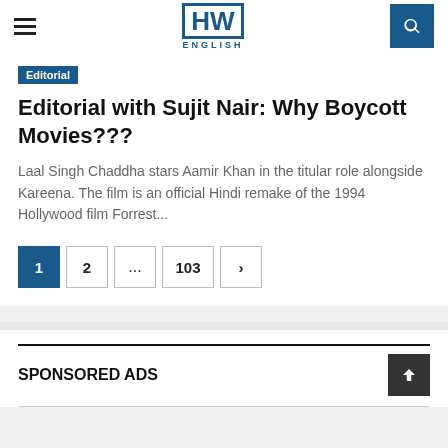HW ENGLISH
Editorial
Editorial with Sujit Nair: Why Boycott Movies???
Laal Singh Chaddha stars Aamir Khan in the titular role alongside Kareena. The film is an official Hindi remake of the 1994 Hollywood film Forrest...
Pagination: 1 2 ... 103 >
SPONSORED ADS